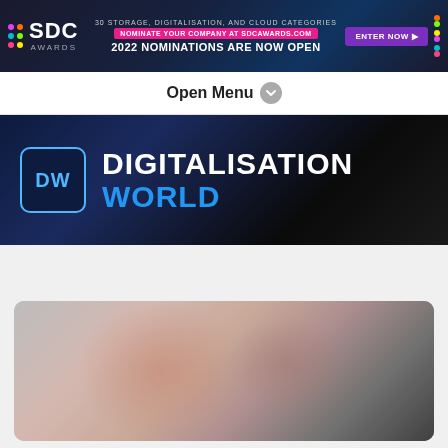[Figure (screenshot): SDC Awards banner: dark navy background with colorful dots, SDC Awards logo, text '30 STORAGE, DIGITALISATION, AND CLOUD CATEGORIES', 'NOMINATE YOUR COMPANY AT SDCAWARDS.COM', '2022 NOMINATIONS ARE NOW OPEN', purple 'ENTER NOW' button]
Open Menu
[Figure (logo): Digitalisation World logo: dark background with 'DW' icon in blue border box and white 'DIGITALISATION' / blue 'WORLD' text]
[Figure (photo): Blurred photo with grey, tan, and dark tones, displayed in a rounded card]